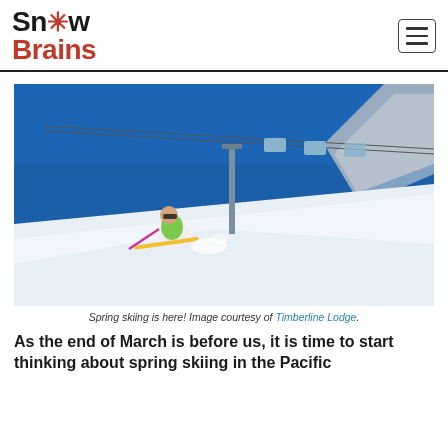Snow Brains
[Figure (photo): Skier carving on a spring snow slope with a ski lift tower in the background and bright blue sky, at Timberline Lodge.]
Spring skiing is here! Image courtesy of Timberline Lodge.
As the end of March is before us, it is time to start thinking about spring skiing in the Pacific